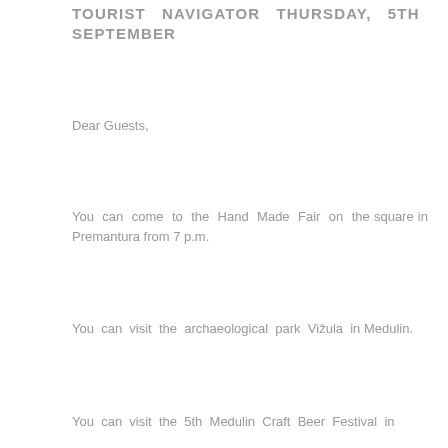TOURIST NAVIGATOR THURSDAY, 5TH SEPTEMBER
Dear Guests,
You can come to the Hand Made Fair on the square in Premantura from 7 p.m.
You can visit the archaeological park Vižula in Medulin.
You can visit the 5th Medulin Craft Beer Festival...